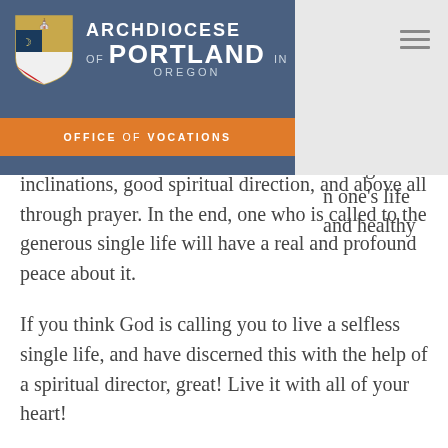Archdiocese of Portland in Oregon — Office of Vocations
ingle person of for a ined in the same ermined: through n one's life and healthy inclinations, good spiritual direction, and above all through prayer. In the end, one who is called to the generous single life will have a real and profound peace about it.
If you think God is calling you to live a selfless single life, and have discerned this with the help of a spiritual director, great! Live it with all of your heart!
If you are not certain of your vocation, then continue to pray and discern. God will tell you with no uncertainty what he wants for your life if you are generous and open to His invitation!